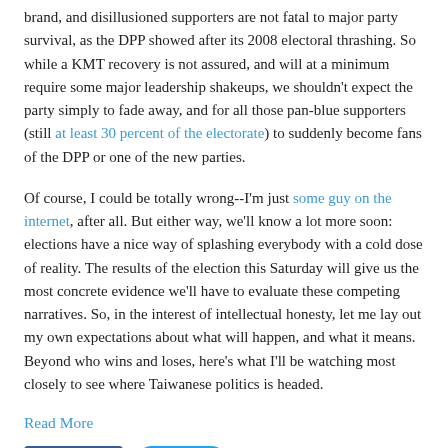brand, and disillusioned supporters are not fatal to major party survival, as the DPP showed after its 2008 electoral thrashing. So while a KMT recovery is not assured, and will at a minimum require some major leadership shakeups, we shouldn't expect the party simply to fade away, and for all those pan-blue supporters (still at least 30 percent of the electorate) to suddenly become fans of the DPP or one of the new parties.
Of course, I could be totally wrong--I'm just some guy on the internet, after all. But either way, we'll know a lot more soon: elections have a nice way of splashing everybody with a cold dose of reality. The results of the election this Saturday will give us the most concrete evidence we'll have to evaluate these competing narratives. So, in the interest of intellectual honesty, let me lay out my own expectations about what will happen, and what it means. Beyond who wins and loses, here's what I'll be watching most closely to see where Taiwanese politics is headed.
Read More
[Figure (other): Social sharing buttons: Facebook Like (count 0) and Twitter Tweet]